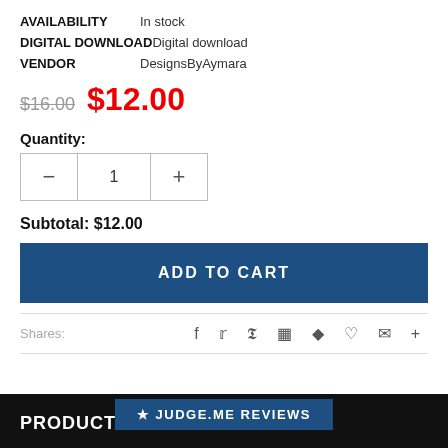AVAILABILITY   In stock
DIGITAL DOWNLOAD   Digital download
VENDOR   DesignsByAymara
$16.00  $12.00
Quantity:
Subtotal: $12.00
ADD TO CART
Shares:
★ JUDGE.ME REVIEWS
PRODUCT DI